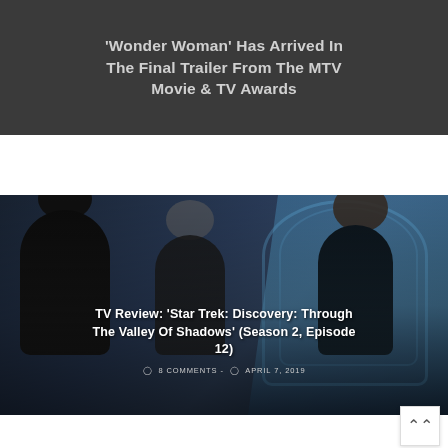'Wonder Woman' Has Arrived In The Final Trailer From The MTV Movie & TV Awards
[Figure (photo): A sci-fi scene with dark-costumed characters in a futuristic corridor with blue lighting]
TV Review: 'Star Trek: Discovery: Through The Valley Of Shadows' (Season 2, Episode 12)
8 COMMENTS -  APRIL 7, 2019